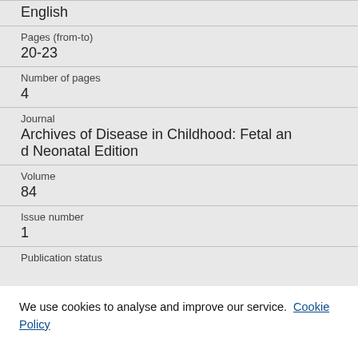| English |  |
| Pages (from-to) | 20-23 |
| Number of pages | 4 |
| Journal | Archives of Disease in Childhood: Fetal and Neonatal Edition |
| Volume | 84 |
| Issue number | 1 |
| Publication status |  |
We use cookies to analyse and improve our service. Cookie Policy